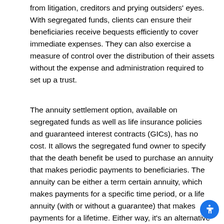from litigation, creditors and prying outsiders' eyes. With segregated funds, clients can ensure their beneficiaries receive bequests efficiently to cover immediate expenses. They can also exercise a measure of control over the distribution of their assets without the expense and administration required to set up a trust.
The annuity settlement option, available on segregated funds as well as life insurance policies and guaranteed interest contracts (GICs), has no cost. It allows the segregated fund owner to specify that the death benefit be used to purchase an annuity that makes periodic payments to beneficiaries. The annuity can be either a term certain annuity, which makes payments for a specific time period, or a life annuity (with or without a guarantee) that makes payments for a lifetime. Either way, it's an alternative to gifting a large sum of money all at once — and especially valuable in situations where direct...